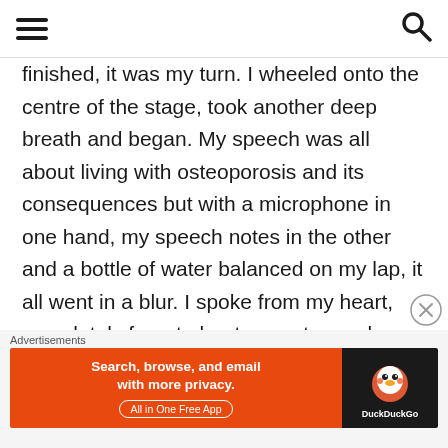[hamburger menu icon] [search icon]
finished, it was my turn. I wheeled onto the centre of the stage, took another deep breath and began. My speech was all about living with osteoporosis and its consequences but with a microphone in one hand, my speech notes in the other and a bottle of water balanced on my lap, it all went in a blur. I spoke from my heart, completely forgot about my notes and unsurprisingly to anyone who knows me, gabbled on for far longer that my allotted 5
Advertisements
[Figure (screenshot): DuckDuckGo advertisement banner: orange left panel with text 'Search, browse, and email with more privacy. All in One Free App' and dark right panel with DuckDuckGo duck logo and brand name]